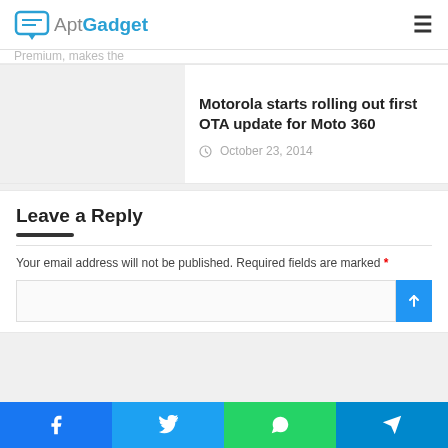AptGadget
Motorola starts rolling out first OTA update for Moto 360
October 23, 2014
Leave a Reply
Your email address will not be published. Required fields are marked *